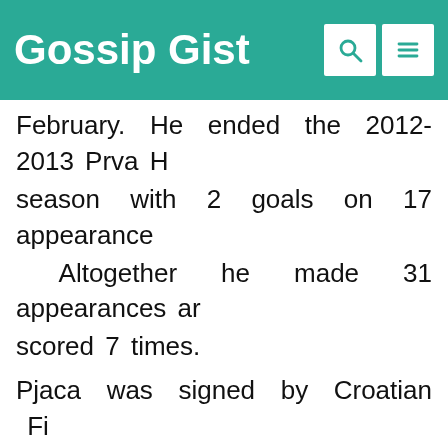Gossip Gist
February. He ended the 2012-2013 Prva H season with 2 goals on 17 appearances. Altogether he made 31 appearances and scored 7 times. Pjaca was signed by Croatian Fi Football League Champions Dinam Zagreb. He made his debut on th opening match. He was in 2014-2015 UE Europa League group stage. He finishe the season with 14 goals in appearances. He was also in 2015 Croatic